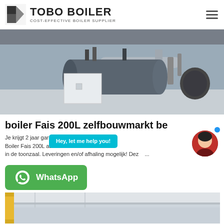TOBO BOILER — COST-EFFECTIVE BOILER SUPPLIER
[Figure (photo): Industrial boiler installation in a factory/warehouse setting, showing large cylindrical blue-grey boiler unit with pipes and equipment on a concrete floor.]
boiler Fais 200L zelfbouwmarkt be
Je krijgt 2 jaar garantie op d... op Boiler Fais 200L aan ee... ma... e of in de toonzaal. Leveringen en/of afhaling mogelijk! Dez...
[Figure (infographic): WhatsApp button (green) with WhatsApp logo icon and text 'WhatsApp']
[Figure (photo): Second product image partially visible at bottom — interior of a building or vehicle, light-colored ceiling.]